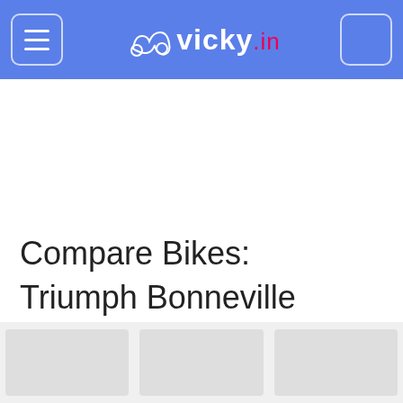vicky.in
Compare Bikes: Triumph Bonneville Bobber vs. Royal Enfield Interceptor 650
[Figure (photo): Three placeholder image thumbnails at the bottom of the page]